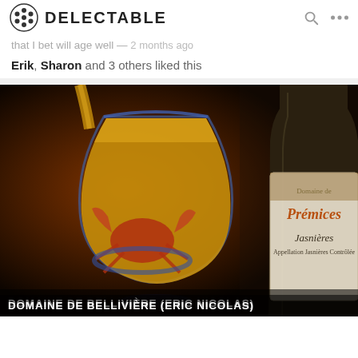DELECTABLE
that I bet will age well — 2 months ago
Erik, Sharon and 3 others liked this
[Figure (photo): Photo of a wine bottle labeled 'Prémices Jasnières Appellation Jasnières Contrôlée' by Domaine de Bellivière, with a glass of golden wine being poured and a crab dish in the background.]
DOMAINE DE BELLIVIÈRE (ERIC NICOLAS)